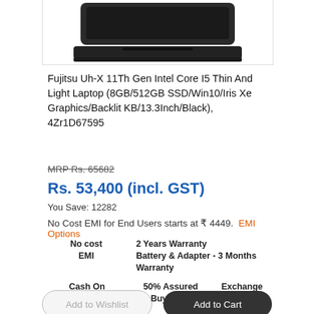[Figure (photo): Partial product image of a Fujitsu laptop (dark/black), showing the top portion of the device against a white background inside a bordered box.]
Fujitsu Uh-X 11Th Gen Intel Core I5 Thin And Light Laptop (8GB/512GB SSD/Win10/Iris Xe Graphics/Backlit KB/13.3Inch/Black), 4Zr1D67595
MRP Rs. 65682
Rs. 53,400 (incl. GST)
You Save: 12282
No Cost EMI for End Users starts at ₹ 4449.  EMI Options
No cost EMI
2 Years Warranty
Battery & Adapter - 3 Months Warranty
Cash On Delivery
50% Assured Buy Back
Exchange
Add to Wishlist
Add to Cart